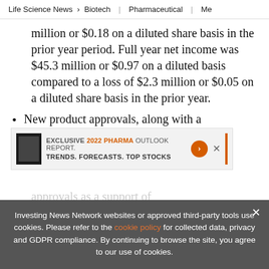Life Science News > Biotech | Pharmaceutical | Me
million or $0.18 on a diluted share basis in the prior year period. Full year net income was $45.3 million or $0.97 on a diluted basis compared to a loss of $2.3 million or $0.05 on a diluted share basis in the prior year.
New product approvals, along with a
strong product development
[Figure (infographic): Ad banner: EXCLUSIVE 2022 PHARMA OUTLOOK REPORT. TRENDS. FORECASTS. TOP STOCKS. Orange arrow button. Orange vertical bar. Close X.]
approvals as a support of
Investing News Network websites or approved third-party tools use cookies. Please refer to the cookie policy for collected data, privacy and GDPR compliance. By continuing to browse the site, you agree to our use of cookies.